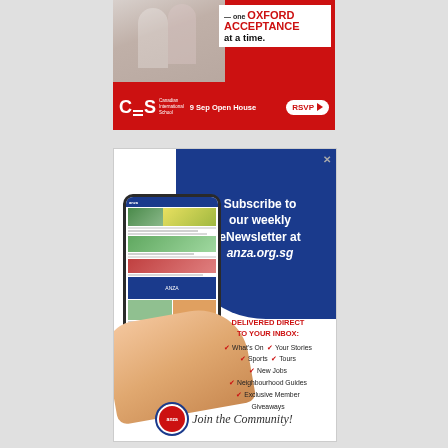[Figure (illustration): Canadian International School advertisement. Red background with photo of students, text reading 'one OXFORD ACCEPTANCE at a time.' with CIS logo, '9 Sep Open House' and RSVP button.]
[Figure (illustration): ANZA eNewsletter advertisement. Blue and white design with phone mockup showing anza website. Text: 'Subscribe to our weekly eNewsletter at anza.org.sg'. DELIVERED DIRECT TO YOUR INBOX: What's On, Your Stories, Sports, Tours, New Jobs, Neighbourhood Guides, Exclusive Member Giveaways. Join the Community! with ANZA logo.]